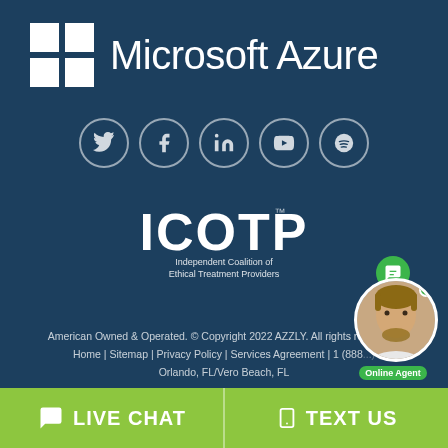[Figure (logo): Microsoft Azure logo with Windows squares icon and 'Microsoft Azure' text in white on dark blue background]
[Figure (infographic): Row of five circular social media icons: Twitter, Facebook, LinkedIn, YouTube, Spotify — white outlines on dark blue]
[Figure (logo): ICOTP logo — Independent Coalition of Ethical Treatment Providers — white text on dark blue]
American Owned & Operated. © Copyright 2022 AZZLY. All rights reserved | Home | Sitemap | Privacy Policy | Services Agreement | 1 (888)... Orlando, FL/Vero Beach, FL
[Figure (infographic): Online Agent chat widget with green speech bubble icon and photo of a young man, with green 'Online Agent' label]
LIVE CHAT   TEXT US